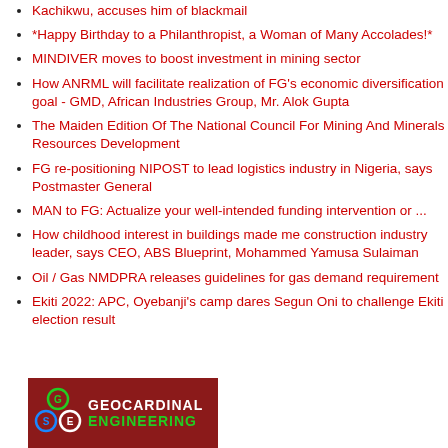Kachikwu, accuses him of blackmail
*Happy Birthday to a Philanthropist, a Woman of Many Accolades!*
MINDIVER moves to boost investment in mining sector
How ANRML will facilitate realization of FG's economic diversification goal - GMD, African Industries Group, Mr. Alok Gupta
The Maiden Edition Of The National Council For Mining And Minerals Resources Development
FG re-positioning NIPOST to lead logistics industry in Nigeria, says Postmaster General
MAN to FG: Actualize your well-intended funding intervention or ...
How childhood interest in buildings made me construction industry leader, says CEO, ABS Blueprint, Mohammed Yamusa Sulaiman
Oil / Gas NMDPRA releases guidelines for gas demand requirement
Ekiti 2022: APC, Oyebanji's camp dares Segun Oni to challenge Ekiti election result
[Figure (logo): Geocardinal Engineering logo with dark red background, circular emblem and green/white text]